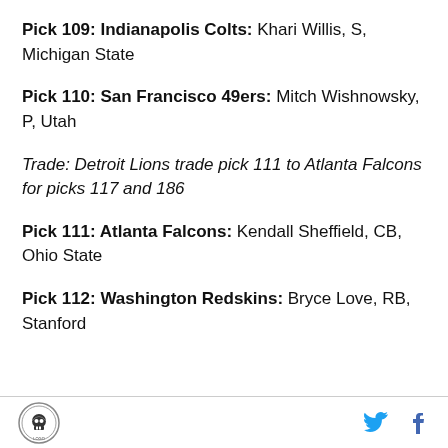Pick 109: Indianapolis Colts: Khari Willis, S, Michigan State
Pick 110: San Francisco 49ers: Mitch Wishnowsky, P, Utah
Trade: Detroit Lions trade pick 111 to Atlanta Falcons for picks 117 and 186
Pick 111: Atlanta Falcons: Kendall Sheffield, CB, Ohio State
Pick 112: Washington Redskins: Bryce Love, RB, Stanford
Logo | Twitter | Facebook